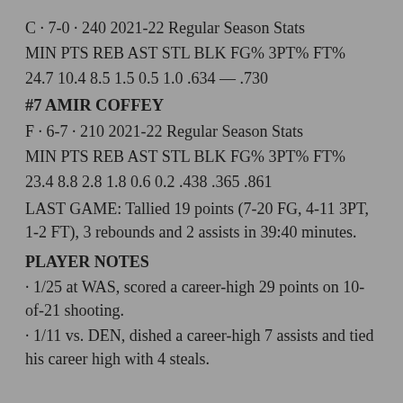C · 7-0 · 240 2021-22 Regular Season Stats
MIN PTS REB AST STL BLK FG% 3PT% FT%
24.7 10.4 8.5 1.5 0.5 1.0 .634 — .730
#7 AMIR COFFEY
F · 6-7 · 210 2021-22 Regular Season Stats
MIN PTS REB AST STL BLK FG% 3PT% FT%
23.4 8.8 2.8 1.8 0.6 0.2 .438 .365 .861
LAST GAME: Tallied 19 points (7-20 FG, 4-11 3PT, 1-2 FT), 3 rebounds and 2 assists in 39:40 minutes.
PLAYER NOTES
· 1/25 at WAS, scored a career-high 29 points on 10-of-21 shooting.
· 1/11 vs. DEN, dished a career-high 7 assists and tied his career high with 4 steals.